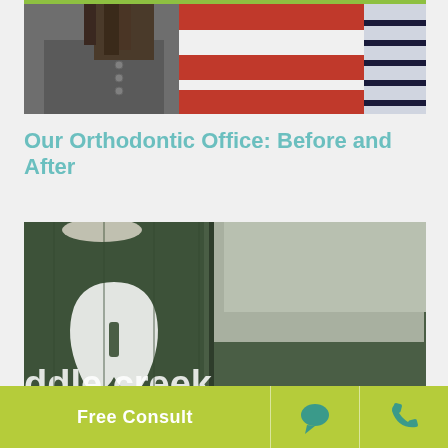[Figure (photo): Photo of two people standing together, one wearing a gray henley shirt with dreadlocks, another wearing a red and white striped polo shirt, and a third person in a navy striped shirt partially visible on the right]
Our Orthodontic Office: Before and After
[Figure (photo): Interior photo of an orthodontic office showing a dark green wall with a white tooth logo and text reading 'idle creek' (partial view of 'Middle Creek'), with pendant lighting visible]
Free Consult